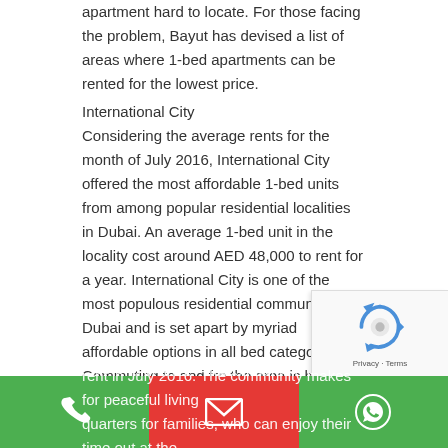apartment hard to locate. For those facing the problem, Bayut has devised a list of areas where 1-bed apartments can be rented for the lowest price.
International City
Considering the average rents for the month of July 2016, International City offered the most affordable 1-bed units from among popular residential localities in Dubai. An average 1-bed unit in the locality cost around AED 48,000 to rent for a year. International City is one of the most populous residential communities in Dubai and is set apart by myriad affordable options in all bed categories. Commuting to and fro the area is hassle free and the community has plenty of shopping marts, mosques, parks and restaurants.
Al Nahda
Although Al Nahda lies close to Dubai's border with Sharjah, accessing it is fairly easy via the main Dubai-Sharjah Road. Average 1-bed unit in Al Nahda cost around AED 53,000 to rent in July 2016. The community makes for peaceful living quarters for families, who can enjoy their time out at the